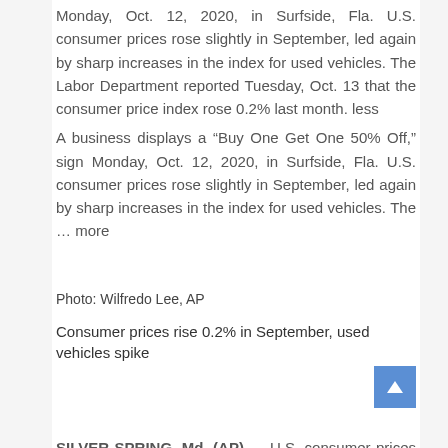Monday, Oct. 12, 2020, in Surfside, Fla. U.S. consumer prices rose slightly in September, led again by sharp increases in the index for used vehicles. The Labor Department reported Tuesday, Oct. 13 that the consumer price index rose 0.2% last month. less
A business displays a “Buy One Get One 50% Off,” sign Monday, Oct. 12, 2020, in Surfside, Fla. U.S. consumer prices rose slightly in September, led again by sharp increases in the index for used vehicles. The … more
Photo: Wilfredo Lee, AP
Consumer prices rise 0.2% in September, used vehicles spike
SILVER SPRING, Md. (AP) — U.S. consumer prices rose slightly in September, led again by sharp increases in the ...